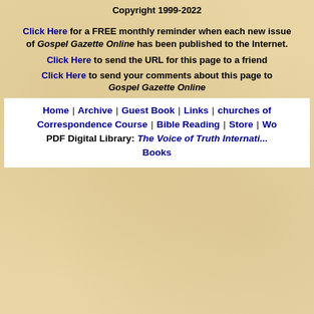Copyright 1999-2022
Click Here for a FREE monthly reminder when each new issue of Gospel Gazette Online has been published to the Internet.
Click Here to send the URL for this page to a friend
Click Here to send your comments about this page to Gospel Gazette Online
Home | Archive | Guest Book | Links | churches of Correspondence Course | Bible Reading | Store | Wo PDF Digital Library: The Voice of Truth Internati... Books